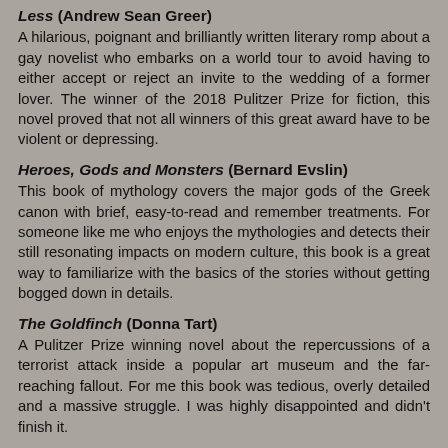Less (Andrew Sean Greer)
A hilarious, poignant and brilliantly written literary romp about a gay novelist who embarks on a world tour to avoid having to either accept or reject an invite to the wedding of a former lover. The winner of the 2018 Pulitzer Prize for fiction, this novel proved that not all winners of this great award have to be violent or depressing.
Heroes, Gods and Monsters (Bernard Evslin)
This book of mythology covers the major gods of the Greek canon with brief, easy-to-read and remember treatments. For someone like me who enjoys the mythologies and detects their still resonating impacts on modern culture, this book is a great way to familiarize with the basics of the stories without getting bogged down in details.
The Goldfinch (Donna Tart)
A Pulitzer Prize winning novel about the repercussions of a terrorist attack inside a popular art museum and the far-reaching fallout. For me this book was tedious, overly detailed and a massive struggle. I was highly disappointed and didn't finish it.